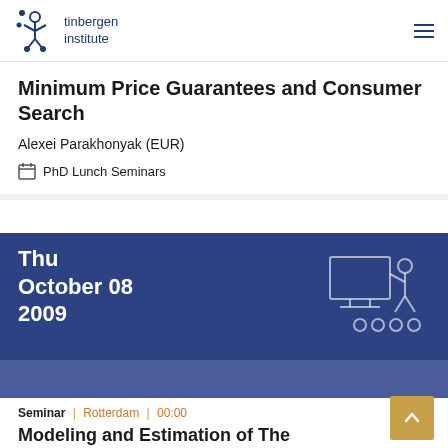tinbergen institute
Minimum Price Guarantees and Consumer Search
Alexei Parakhonyak (EUR)
PhD Lunch Seminars
Thu October 08 2009
Seminar | Rotterdam | 00:00
Modeling and Estimation of The